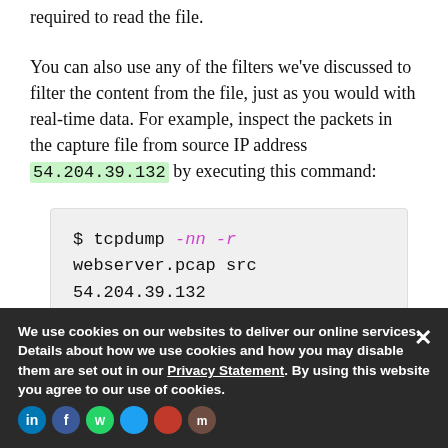required to read the file.
You can also use any of the filters we've discussed to filter the content from the file, just as you would with real-time data. For example, inspect the packets in the capture file from source IP address 54.204.39.132 by executing this command:
$ tcpdump -nn -r webserver.pcap src 54.204.39.132
reading from file
We use cookies on our websites to deliver our online services. Details about how we use cookies and how you may disable them are set out in our Privacy Statement. By using this website you agree to our use of cookies.